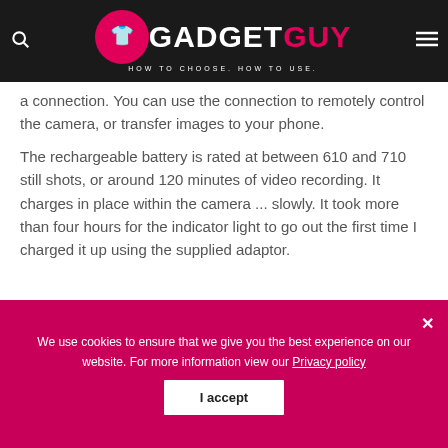GADGET GUY — HOW TO CHOOSE. HOW TO USE.
a connection. You can use the connection to remotely control the camera, or transfer images to your phone.
The rechargeable battery is rated at between 610 and 710 still shots, or around 120 minutes of video recording. It charges in place within the camera ... slowly. It took more than four hours for the indicator light to go out the first time I charged it up using the supplied adaptor.
We use cookies to ensure that we give you the best experience on our website. For more information view our Privacy policy